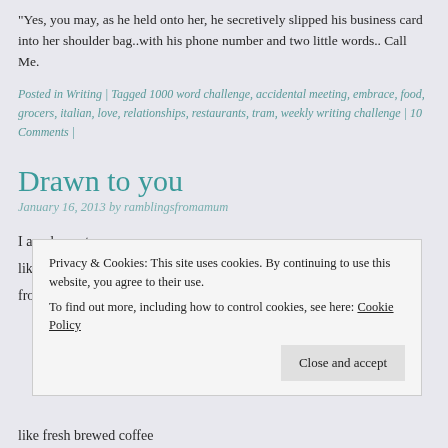“Yes, you may, as he held onto her, he secretively slipped his business card into her shoulder bag..with his phone number and two little words.. Call Me.
Posted in Writing | Tagged 1000 word challenge, accidental meeting, embrace, food, grocers, italian, love, relationships, restaurants, tram, weekly writing challenge | 10 Comments |
Drawn to you
January 16, 2013 by ramblingsfromamum
I am drawn to you
like my bed when I am weary
from the day
Privacy & Cookies: This site uses cookies. By continuing to use this website, you agree to their use.
To find out more, including how to control cookies, see here: Cookie Policy
like fresh brewed coffee